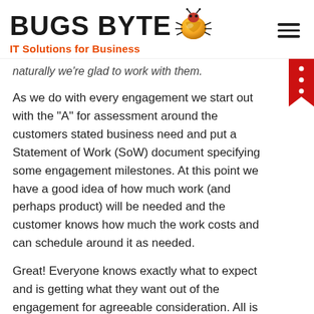BUGS BYTE IT Solutions for Business
naturally we're glad to work with them.
As we do with every engagement we start out with the “A” for assessment around the customers stated business need and put a Statement of Work (SoW) document specifying some engagement milestones. At this point we have a good idea of how much work (and perhaps product) will be needed and the customer knows how much the work costs and can schedule around it as needed.
Great! Everyone knows exactly what to expect and is getting what they want out of the engagement for agreeable consideration. All is fine right?
Except in the real world, the customer says :